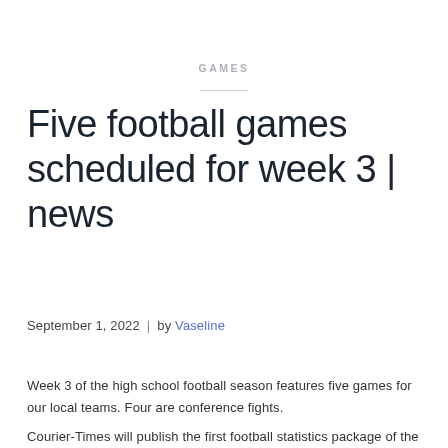GAMES
Five football games scheduled for week 3 | news
September 1, 2022 | by Vaseline
Week 3 of the high school football season features five games for our local teams. Four are conference fights.
Courier-Times will publish the first football statistics package of the season next Friday, with parameters from each team's first three weeks of play.